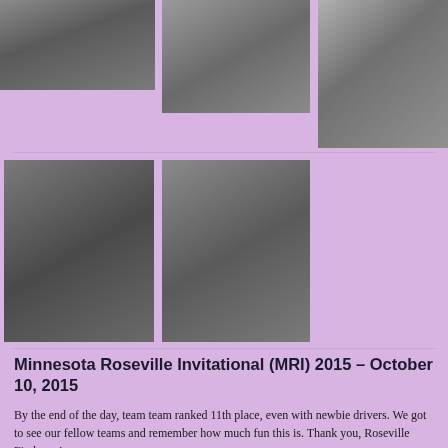[Figure (photo): Top row of three photos showing people at a robotics event]
[Figure (photo): Bottom row of two large group photos showing teams posing together, plus one more photo on the right]
Minnesota Roseville Invitational (MRI) 2015 – October 10, 2015
By the end of the day, team team ranked 11th place, even with newbie drivers. We got to see our fellow teams and remember how much fun this is. Thank you, Roseville Firebears!